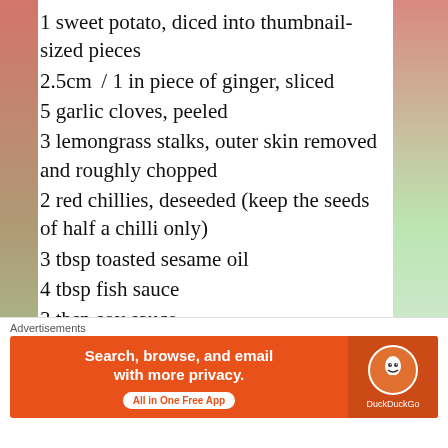1 sweet potato, diced into thumbnail-sized pieces
2.5cm / 1 in piece of ginger, sliced
5 garlic cloves, peeled
3 lemongrass stalks, outer skin removed and roughly chopped
2 red chillies, deseeded (keep the seeds of half a chilli only)
3 tbsp toasted sesame oil
4 tbsp fish sauce
3 tbsp soy sauce
1 tbsp brown sugar or palm sugar
[Figure (screenshot): Advertisement banner: Simplified pricing for everything you need, gradient blue/purple background]
[Figure (screenshot): DuckDuckGo advertisement banner: Search, browse, and email with more privacy. All in One Free App, orange background with duck logo]